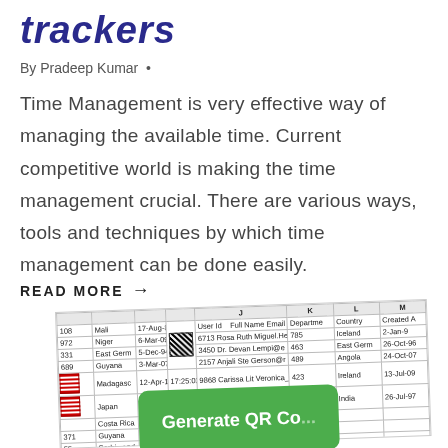trackers
By Pradeep Kumar •
Time Management is very effective way of managing the available time. Current competitive world is making the time management crucial. There are various ways, tools and techniques by which time management can be done easily.
READ MORE →
[Figure (screenshot): Screenshot of a spreadsheet with QR codes and user data columns (Full Name, Email, Department, Country, Created At), overlaid with a green card showing 'Generate QR Co...']